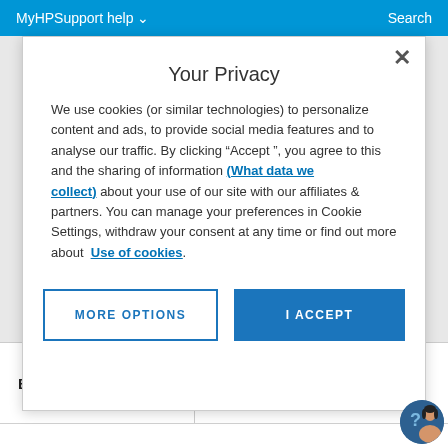MyHPSupport help   Search
Your Privacy
We use cookies (or similar technologies) to personalize content and ads, to provide social media features and to analyse our traffic. By clicking "Accept ", you agree to this and the sharing of information (What data we collect) about your use of our site with our affiliates & partners. You can manage your preferences in Cookie Settings, withdraw your consent at any time or find out more about Use of cookies.
| Battery type | 3-cell, 41 Wh Li-ion |
| --- | --- |